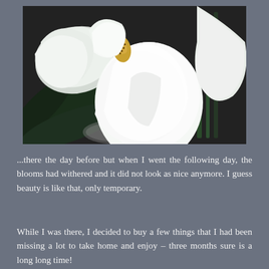[Figure (photo): Close-up photograph of white anthurium flowers with a yellow spadix, dark green tropical leaves, and a dark background. The arrangement sits on what appears to a reflective surface.]
...there the day before but when I went the following day, the blooms had withered and it did not look as nice anymore. I guess beauty is like that, only temporary.
While I was there, I decided to buy a few things that I had been missing a lot to take home and enjoy – three months sure is a long long time!